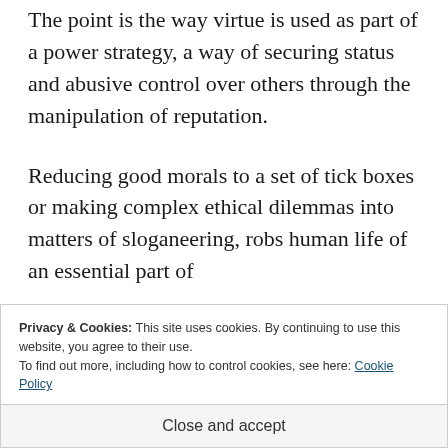The point is the way virtue is used as part of a power strategy, a way of securing status and abusive control over others through the manipulation of reputation.
Reducing good morals to a set of tick boxes or making complex ethical dilemmas into matters of sloganeering, robs human life of an essential part of
Privacy & Cookies: This site uses cookies. By continuing to use this website, you agree to their use.
To find out more, including how to control cookies, see here: Cookie Policy
Close and accept
understand our own sinful natures and